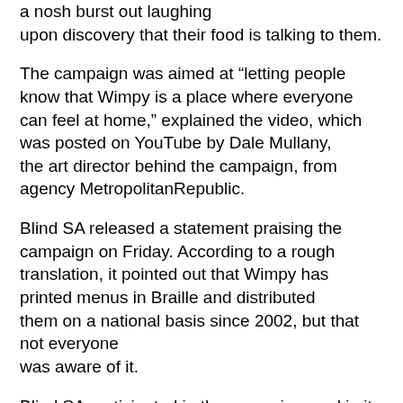a nosh burst out laughing upon discovery that their food is talking to them.
The campaign was aimed at “letting people know that Wimpy is a place where everyone can feel at home,” explained the video, which was posted on YouTube by Dale Mullany, the art director behind the campaign, from agency MetropolitanRepublic.
Blind SA released a statement praising the campaign on Friday. According to a rough translation, it pointed out that Wimpy has printed menus in Braille and distributed them on a national basis since 2002, but that not everyone was aware of it.
Blind SA participated in the campaign, and in its statement praised the company for sending